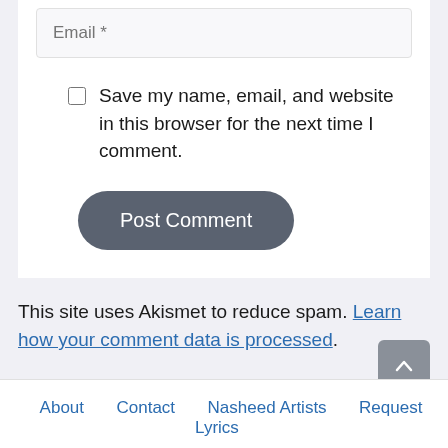[Figure (screenshot): Email input field with placeholder text 'Email *']
Save my name, email, and website in this browser for the next time I comment.
[Figure (screenshot): Post Comment button, dark rounded rectangle]
This site uses Akismet to reduce spam. Learn how your comment data is processed.
About   Contact   Nasheed Artists   Request Lyrics